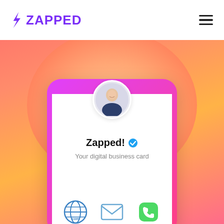[Figure (logo): Zapped logo with purple lightning bolt and ZAPPED text in purple]
[Figure (illustration): Hamburger menu icon (three horizontal lines) in top right corner]
[Figure (screenshot): Mobile phone mockup with pink/magenta border showing a digital business card profile screen. Features a circular profile photo of a man, name 'Zapped!' with blue verified checkmark, subtitle 'Your digital business card', and three icons at bottom: globe/website (com), envelope/email, and green phone icon. Background is a warm gradient from orange-pink to coral with a large circular blob.]